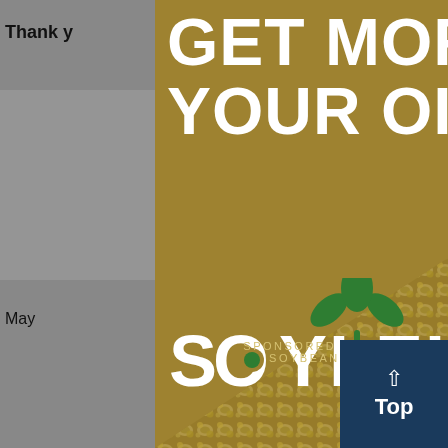[Figure (screenshot): Website page in background showing partial text 'Thank y...' and 'ools you', date 'May', 'PODCAS' sections, episode excerpts starting with 'Epis...', and 'Gra...' text. Gray background.]
[Figure (illustration): Popup modal advertisement on gold/dark-gold background. Top portion has large white bold text reading 'GET MORE FROM YOUR OIL WITH'. Below is the Soyleic brand logo featuring green plant sprout icon and text 'SOYLEIC' with an olive/dot in the O. Bottom left has small text 'SPONSORED BY UNITED SOYBEAN BOARD'. Lower right portion shows a diagonal split revealing a close-up photo of soybeans texture. Top right has a close/X button. Bottom right corner shows a dark navy blue 'Top' button with upward arrow.]
GET MORE FROM YOUR OIL WITH
SOYLEIC
SPONSORED BY UNITED SOYBEAN BOARD
Top